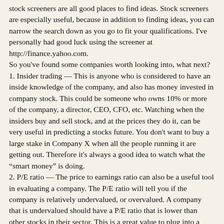stock screeners are all good places to find ideas. Stock screeners are especially useful, because in addition to finding ideas, you can narrow the search down as you go to fit your qualifications. I've personally had good luck using the screener at http://finance.yahoo.com.
So you've found some companies worth looking into, what next?
1. Insider trading — This is anyone who is considered to have an inside knowledge of the company, and also has money invested in company stock. This could be someone who owns 10% or more of the company, a director, CEO, CFO, etc. Watching when the insiders buy and sell stock, and at the prices they do it, can be very useful in predicting a stocks future. You don't want to buy a large stake in Company X when all the people running it are getting out. Therefore it's always a good idea to watch what the "smart money" is doing.
2. P/E ratio — The price to earnings ratio can also be a useful tool in evaluating a company. The P/E ratio will tell you if the company is relatively undervalued, or overvalued. A company that is undervalued should have a P/E ratio that is lower than other stocks in their sector. This is a great value to plug into a stock screener to find profitable companies.
Note: P/E can be manipulated (think Enron). Also P/E ratios vary...